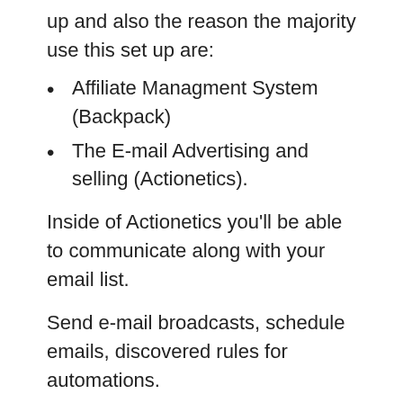up and also the reason the majority use this set up are:
Affiliate Managment System (Backpack)
The E-mail Advertising and selling (Actionetics).
Inside of Actionetics you'll be able to communicate along with your email list.
Send e-mail broadcasts, schedule emails, discovered rules for automations.
You can produce any doable combination you wish with emails. It's crazy.